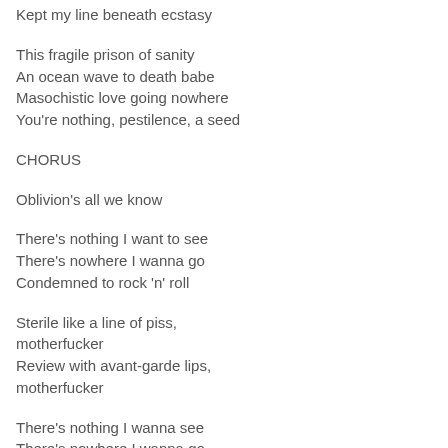Kept my line beneath ecstasy
This fragile prison of sanity
An ocean wave to death babe
Masochistic love going nowhere
You're nothing, pestilence, a seed
CHORUS
Oblivion's all we know
There's nothing I want to see
There's nowhere I wanna go
Condemned to rock 'n' roll
Sterile like a line of piss, motherfucker
Review with avant-garde lips, motherfucker
There's nothing I wanna see
There's nowhere I wanna go